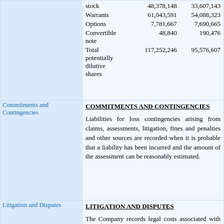| Item | Col1 | Col2 |
| --- | --- | --- |
| stock | 48,378,148 | 33,607,143 |
| Warrants | 61,043,591 | 54,088,323 |
| Options | 7,781,667 | 7,690,665 |
| Convertible note | 48,840 | 190,476 |
| Total potentially dilutive shares | 117,252,246 | 95,576,607 |
Commitments and Contingencies
COMMITMENTS AND CONTINGENCIES
Liabilities for loss contingencies arising from claims, assessments, litigation, fines and penalties and other sources are recorded when it is probable that a liability has been incurred and the amount of the assessment can be reasonably estimated.
Litigation and Disputes
LITIGATION AND DISPUTES
The Company records legal costs associated with loss contingencies as incurred and accrues for all probable and estimable settlements.
Recently Issued Accounting Pronouncements
RECENTLY ISSUED ACCOUNTING PRONOUNCEMENTS